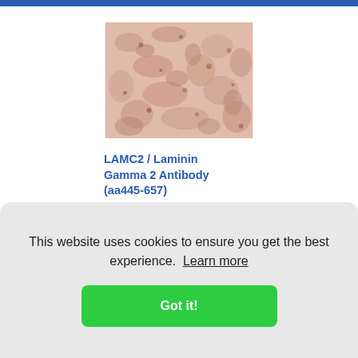[Figure (photo): Histological immunohistochemistry tissue image showing staining with LAMC2 / Laminin Gamma 2 Antibody, pinkish-brown staining on tissue section.]
LAMC2 / Laminin Gamma 2 Antibody (aa445-657) LS-C186329
Species: Human
This website uses cookies to ensure you get the best experience. Learn more
Got it!